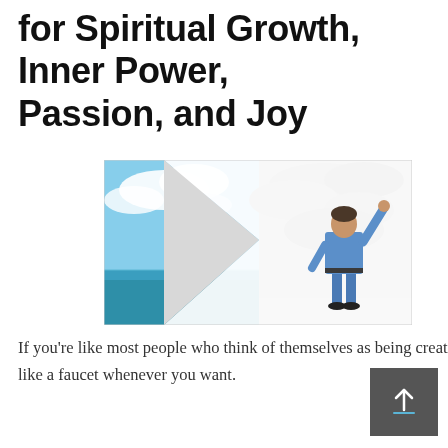for Spiritual Growth, Inner Power, Passion, and Joy
[Figure (photo): A person in a blue shirt and jeans peeling back a dark stormy page to reveal a bright blue sky and ocean scene underneath, symbolizing transformation or new beginnings.]
If you're like most people who think of themselves as being creative, you probably wish you could turn your creative flow on like a faucet whenever you want.